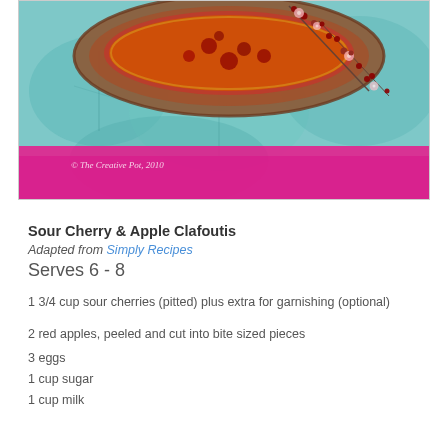[Figure (photo): Photo of a Sour Cherry and Apple Clafoutis dish in a round baking dish, placed on a teal/blue decorative surface with pink border and small floral sprigs. Watermark reads: © The Creative Pot, 2010]
Sour Cherry & Apple Clafoutis
Adapted from Simply Recipes
Serves 6 - 8
1 3/4 cup sour cherries (pitted) plus extra for garnishing (optional)
2 red apples, peeled and cut into bite sized pieces
3 eggs
1 cup sugar
1 cup milk